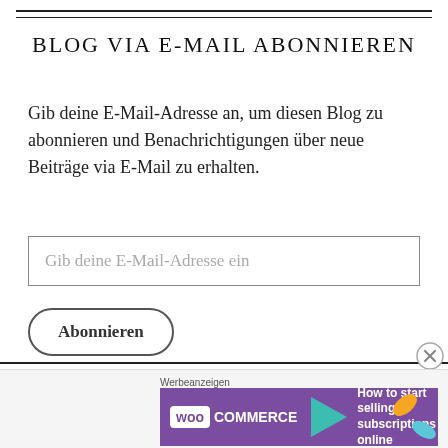BLOG VIA E-MAIL ABONNIEREN
Gib deine E-Mail-Adresse an, um diesen Blog zu abonnieren und Benachrichtigungen über neue Beiträge via E-Mail zu erhalten.
Gib deine E-Mail-Adresse ein
Abonnieren
Schließe dich 6.568 anderen Followern an
Werbeanzeigen
[Figure (other): WooCommerce advertisement banner: purple background with WooCommerce logo, teal arrow, orange and blue leaf decorations, text: How to start selling subscriptions online]